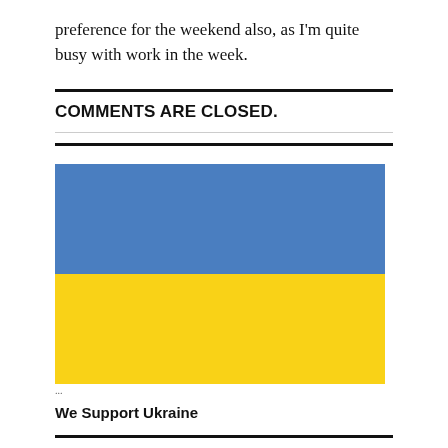preference for the weekend also, as I'm quite busy with work in the week.
COMMENTS ARE CLOSED.
[Figure (illustration): Ukrainian flag — two horizontal bands of blue (top) and yellow (bottom)]
We Support Ukraine